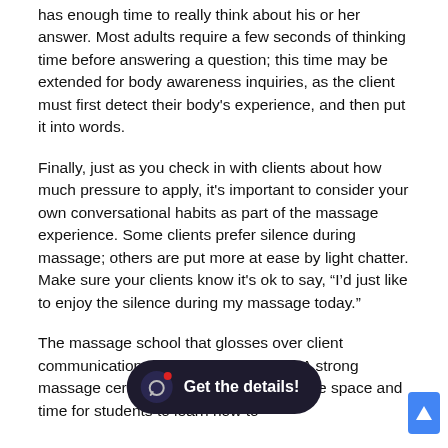has enough time to really think about his or her answer. Most adults require a few seconds of thinking time before answering a question; this time may be extended for body awareness inquiries, as the client must first detect their body's experience, and then put it into words.
Finally, just as you check in with clients about how much pressure to apply, it's important to consider your own conversational habits as part of the massage experience. Some clients prefer silence during massage; others are put more at ease by light chatter. Make sure your clients know it's ok to say, “I’d just like to enjoy the silence during my massage today.”
The massage school that glosses over client communications is doing a di... A strong massage certifica... provide space and time for students to learn how to